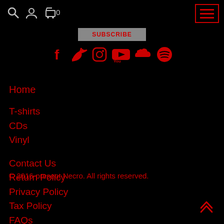Search | Account | Cart 0 | Menu
[Figure (screenshot): SUBSCRIBE button and social media icons: Facebook, Twitter, Instagram, YouTube, SoundCloud, Spotify — all in red on black background]
Home
T-shirts
CDs
Vinyl
Contact Us
Return Policy
Privacy Policy
Tax Policy
FAQs
© 2016-present Necro. All rights reserved.